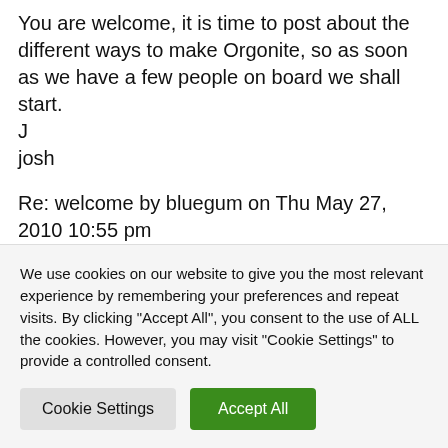You are welcome, it is time to post about the different ways to make Orgonite, so as soon as we have a few people on board we shall start.
J
josh
Re: welcome by bluegum on Thu May 27, 2010 10:55 pm
Hey Josh, good work getting this going so
We use cookies on our website to give you the most relevant experience by remembering your preferences and repeat visits. By clicking "Accept All", you consent to the use of ALL the cookies. However, you may visit "Cookie Settings" to provide a controlled consent.